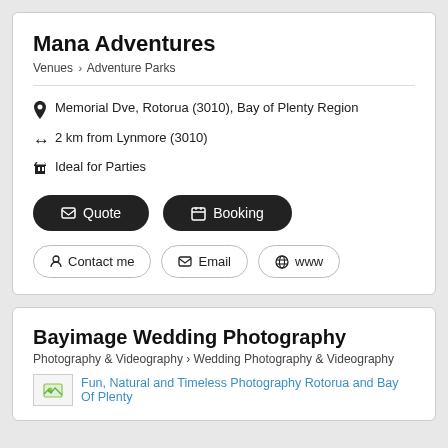Mana Adventures
Venues > Adventure Parks
Memorial Dve, Rotorua (3010), Bay of Plenty Region
2 km from Lynmore (3010)
Ideal for Parties
✉ Quote
📅 Booking
👤 Contact me
✉ Email
🌐 www
Bayimage Wedding Photography
Photography & Videography > Wedding Photography & Videography
Fun, Natural and Timeless Photography Rotorua and Bay Of Plenty